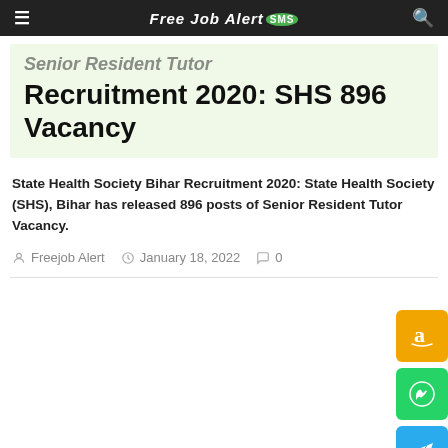Free Job Alert SMS
Senior Resident Tutor Recruitment 2020: SHS 896 Vacancy
State Health Society Bihar Recruitment 2020: State Health Society (SHS), Bihar has released 896 posts of Senior Resident Tutor Vacancy.
Freejob Alert   January 18, 2022   0